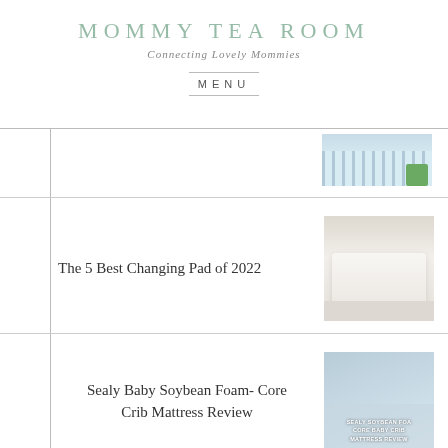MOMMY TEA ROOM
Connecting Lovely Mommies
MENU
The 5 Best Changing Pad of 2022
[Figure (photo): White changing pad on a table in a nursery room]
Sealy Baby Soybean Foam- Core Crib Mattress Review
[Figure (photo): Sealy Soybean Foam-Core Baby Crib Mattress Review image with baby sleeping]